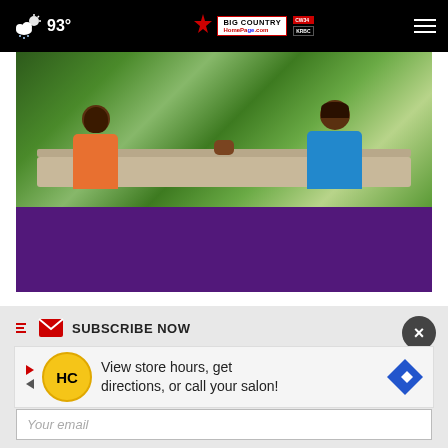93° Big Country Homepage.com | navigation bar
[Figure (photo): Two women sitting on a bench outdoors, one in orange dress, one in blue scrubs/jumpsuit, holding hands in a garden setting. Below the photo is a solid purple/dark violet rectangle.]
SUBSCRIBE NOW
Sports Newslette...
Your email
[Figure (infographic): Advertisement banner: HC logo (yellow circle with HC text), text reading 'View store hours, get directions, or call your salon!' with navigation arrows on left and right.]